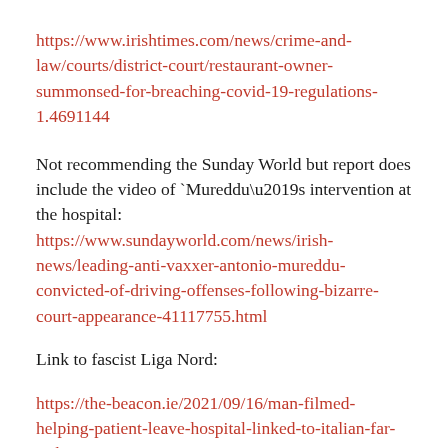https://www.irishtimes.com/news/crime-and-law/courts/district-court/restaurant-owner-summonsed-for-breaching-covid-19-regulations-1.4691144
Not recommending the Sunday World but report does include the video of `Mureddu’s intervention at the hospital: https://www.sundayworld.com/news/irish-news/leading-anti-vaxxer-antonio-mureddu-convicted-of-driving-offenses-following-bizarre-court-appearance-41117755.html
Link to fascist Liga Nord:
https://the-beacon.ie/2021/09/16/man-filmed-helping-patient-leave-hospital-linked-to-italian-far-right-party/